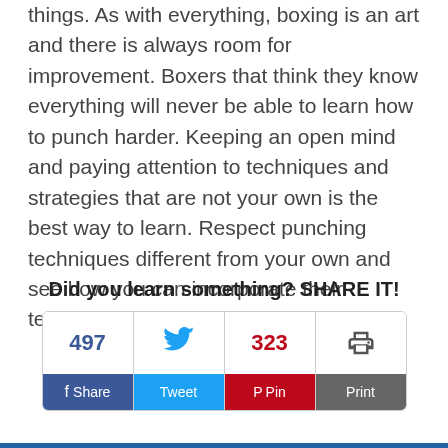things. As with everything, boxing is an art and there is always room for improvement. Boxers that think they know everything will never be able to learn how to punch harder. Keeping an open mind and paying attention to techniques and strategies that are not your own is the best way to learn. Respect punching techniques different from your own and see how you can incorporate their techniques into your own.
Did you learn something? SHARE IT!
[Figure (infographic): Social share buttons: Facebook (497 shares), Twitter (Tweet), Pinterest (323 pins), Print]